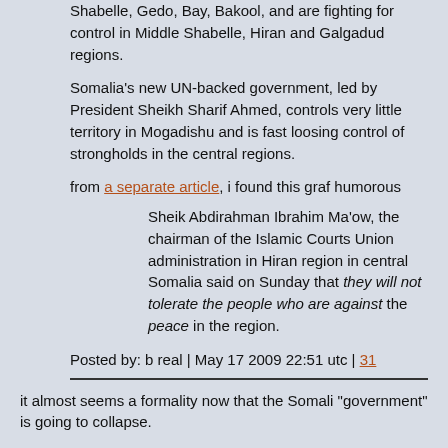Shabelle, Gedo, Bay, Bakool, and are fighting for control in Middle Shabelle, Hiran and Galgadud regions.
Somalia's new UN-backed government, led by President Sheikh Sharif Ahmed, controls very little territory in Mogadishu and is fast loosing control of strongholds in the central regions.
from a separate article, i found this graf humorous
Sheik Abdirahman Ibrahim Ma'ow, the chairman of the Islamic Courts Union administration in Hiran region in central Somalia said on Sunday that they will not tolerate the people who are against the peace in the region.
Posted by: b real | May 17 2009 22:51 utc | 31
it almost seems a formality now that the Somali "government" is going to collapse.
Posted by: jony_b_cool | May 17 2009 23:42 utc | 32
shit, lots of changes in one day, i just read weinstein's report last night..